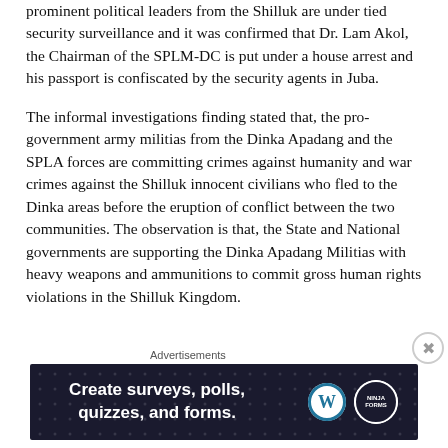prominent political leaders from the Shilluk are under tied security surveillance and it was confirmed that Dr. Lam Akol, the Chairman of the SPLM-DC is put under a house arrest and his passport is confiscated by the security agents in Juba.
The informal investigations finding stated that, the pro-government army militias from the Dinka Apadang and the SPLA forces are committing crimes against humanity and war crimes against the Shilluk innocent civilians who fled to the Dinka areas before the eruption of conflict between the two communities. The observation is that, the State and National governments are supporting the Dinka Apadang Militias with heavy weapons and ammunitions to commit gross human rights violations in the Shilluk Kingdom.
Advertisements
[Figure (screenshot): Advertisement banner with dark blue background showing text 'Create surveys, polls, quizzes, and forms.' with WordPress logo and Ninja Forms logo on right side.]